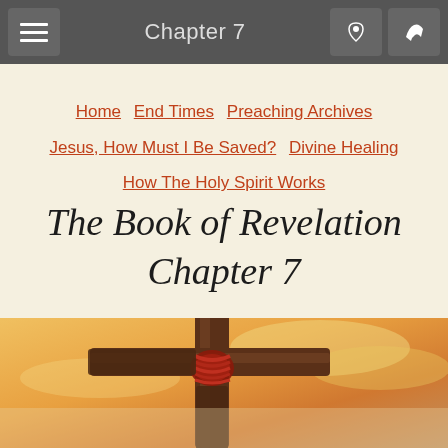Chapter 7
Home  End Times  Preaching Archives  Jesus, How Must I Be Saved?  Divine Healing  How The Holy Spirit Works
The Book of Revelation Chapter 7
[Figure (photo): A rustic wooden cross tied with red rope against a warm golden sky background]